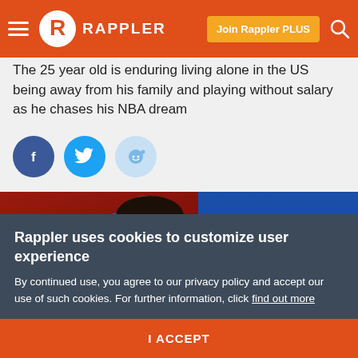Rappler — Join Rappler PLUS
The 25 year old is enduring living alone in the US being away from his family and playing without salary as he chases his NBA dream
[Figure (photo): Basketball players in blue jerseys on a red court background; player wearing jersey number 11 visible on right]
Rappler uses cookies to customize user experience
By continued use, you agree to our privacy policy and accept our use of such cookies. For further information, click find out more
I ACCEPT